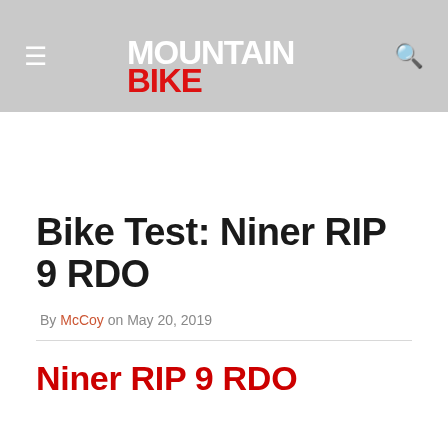Mountain Bike Action (logo header with hamburger menu and search icon)
Bike Test: Niner RIP 9 RDO
By McCoy on May 20, 2019
Niner RIP 9 RDO